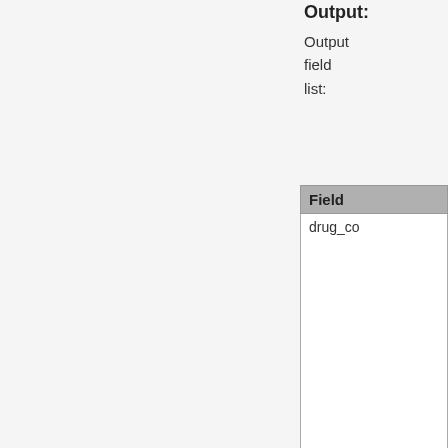Output:
Output field list:
| Field |
| --- |
| drug_co... |
| person_... |